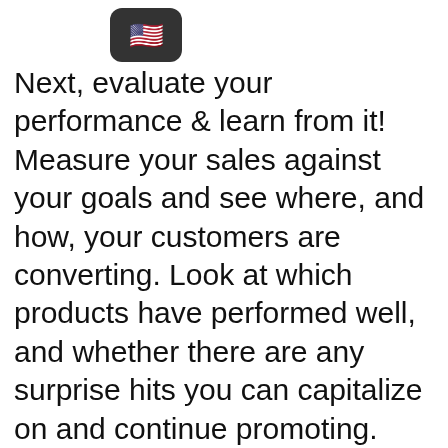[Figure (other): US flag emoji displayed in a dark rounded rectangle in the upper left area]
Next, evaluate your performance & learn from it! Measure your sales against your goals and see where, and how, your customers are converting. Look at which products have performed well, and whether there are any surprise hits you can capitalize on and continue promoting. Don't forget to look at what hasn't performed as well as you hoped and forensically analyze why that might have been.

Finally, don't neglect your offsite web pages – now your customers